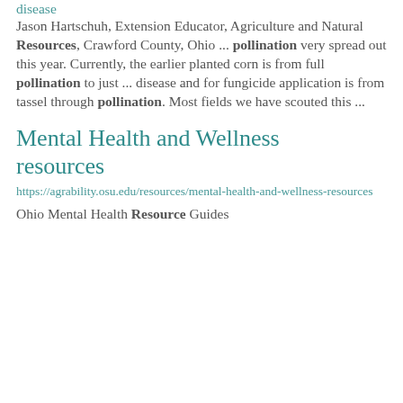disease
Jason Hartschuh, Extension Educator, Agriculture and Natural Resources, Crawford County, Ohio ... pollination very spread out this year. Currently, the earlier planted corn is from full pollination to just ... disease and for fungicide application is from tassel through pollination. Most fields we have scouted this ...
Mental Health and Wellness resources
https://agrability.osu.edu/resources/mental-health-and-wellness-resources
Ohio Mental Health Resource Guides